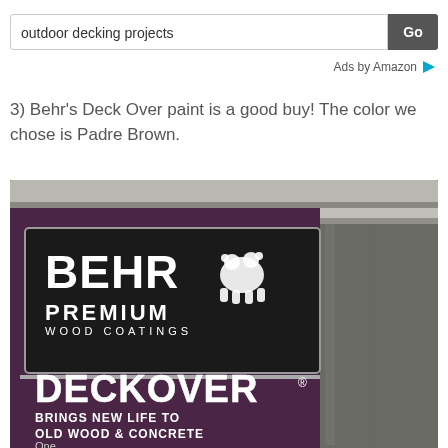[Figure (screenshot): Search bar with text 'outdoor decking projects' and a 'Go' button on the right]
Ads by Amazon
3) Behr's Deck Over paint is a good buy! The color we chose is Padre Brown.
[Figure (photo): Close-up photo of a Behr Premium Wood Coatings DeckOver paint can in dark purple/maroon color. Label reads: BEHR PREMIUM WOOD COATINGS DECK OVER BRINGS NEW LIFE TO OLD WOOD & CONCRETE]